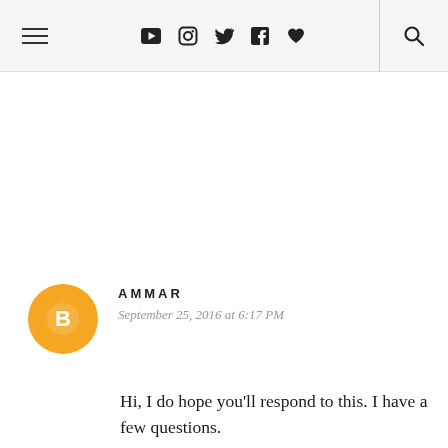≡ ▶ 📷 🐦 f ♥ 🔍
[Figure (other): Blogger user avatar — orange circle with white 'B' logo]
AMMAR
September 25, 2016 at 6:17 PM
Hi, I do hope you'll respond to this. I have a few questions. 1) If you let the basket (place where you put the lense) air dry...